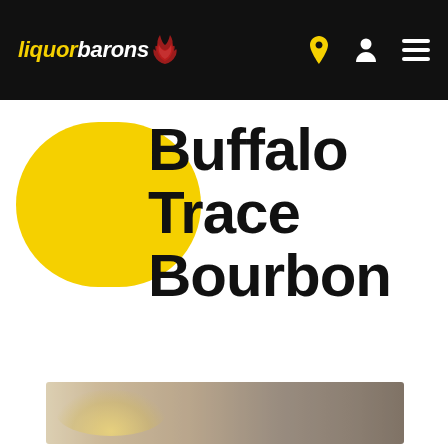liquorbarons
Buffalo Trace Bourbon
[Figure (photo): Partial product image of Buffalo Trace Bourbon bottle, showing a blurred/cropped view of the label area with warm golden and brown tones]